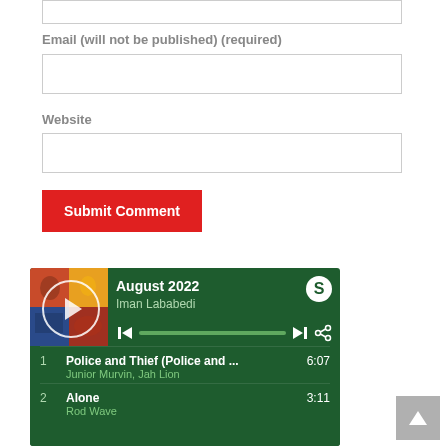Email (will not be published) (required)
Website
Submit Comment
[Figure (screenshot): Spotify embedded playlist widget showing 'August 2022' playlist by Iman Lababedi. Track 1: Police and Thief (Police and...) by Junior Murvin, Jah Lion - 6:07. Track 2: Alone by Rod Wave - 3:11.]
^